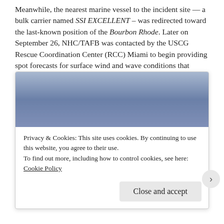Meanwhile, the nearest marine vessel to the incident site — a bulk carrier named SSI EXCELLENT – was redirected toward the last-known position of the Bourbon Rhode. Later on September 26, NHC/TAFB was contacted by the USCG Rescue Coordination Center (RCC) Miami to begin providing spot forecasts for surface wind and wave conditions that would impact vessels aiding in the SAR efforts. The first TAFB point forecast for the rescue detailed the dangerous marine conditions that were still ongoing in the wake of Lorenzo, with gusty tropical-storm-force winds and combined seas of 20 feet near the incident site.
[Figure (photo): Blue sky/ocean gradient image, partially visible behind cookie consent banner]
Privacy & Cookies: This site uses cookies. By continuing to use this website, you agree to their use.
To find out more, including how to control cookies, see here: Cookie Policy
Close and accept